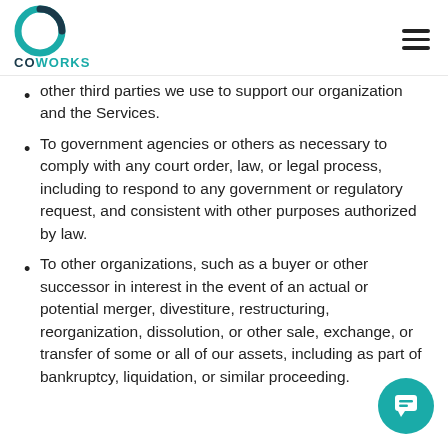COWORKS
other third parties we use to support our organization and the Services.
To government agencies or others as necessary to comply with any court order, law, or legal process, including to respond to any government or regulatory request, and consistent with other purposes authorized by law.
To other organizations, such as a buyer or other successor in interest in the event of an actual or potential merger, divestiture, restructuring, reorganization, dissolution, or other sale, exchange, or transfer of some or all of our assets, including as part of bankruptcy, liquidation, or similar proceeding.